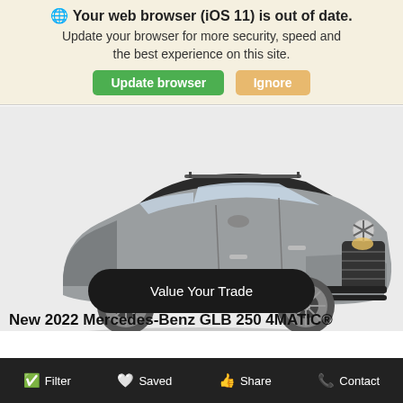🌐 Your web browser (iOS 11) is out of date. Update your browser for more security, speed and the best experience on this site.
Update browser | Ignore
[Figure (photo): Silver Mercedes-Benz GLB 250 4MATIC SUV photographed from a front three-quarter angle on a white/grey background]
Value Your Trade
New 2022 Mercedes-Benz GLB 250 4MATIC®
Filter | Saved | Share | Contact